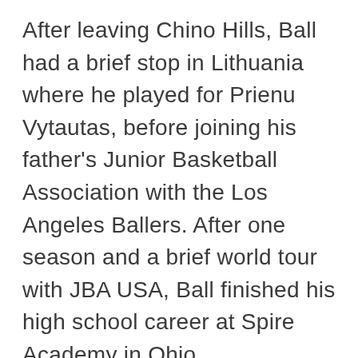After leaving Chino Hills, Ball had a brief stop in Lithuania where he played for Prienu Vytautas, before joining his father's Junior Basketball Association with the Los Angeles Ballers. After one season and a brief world tour with JBA USA, Ball finished his high school career at Spire Academy in Ohio.